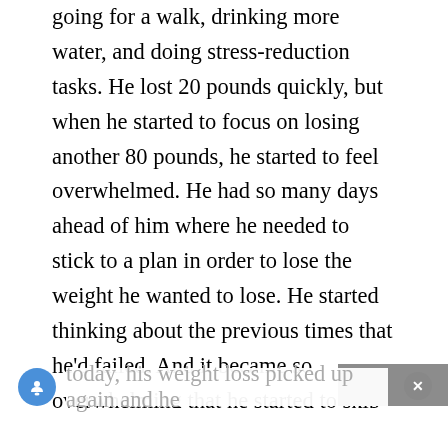going for a walk, drinking more water, and doing stress-reduction tasks. He lost 20 pounds quickly, but when he started to focus on losing another 80 pounds, he started to feel overwhelmed. He had so many days ahead of him where he needed to stick to a plan in order to lose the weight he wanted to lose. He started thinking about the previous times that he'd failed. And it became so overwhelming that he started to skip his routine and fall back into his old habits. He stopped losing weight and even gained a few pounds back. When he was able to start living one day at a time and focus only on today, his weight loss picked up again and he